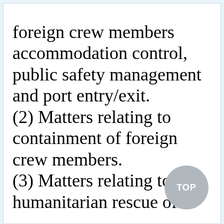foreign crew members accommodation control, public safety management and port entry/exit. (2) Matters relating to containment of foreign crew members. (3) Matters relating to humanitarian rescue of